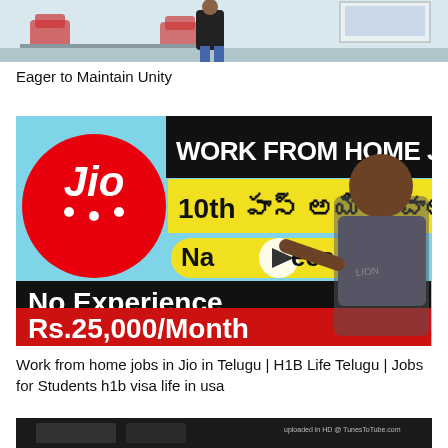[Figure (screenshot): Cropped top of a video thumbnail showing a person standing in an office/room setting with chairs and desks]
Eager to Maintain Unity
[Figure (screenshot): Jio work from home job video thumbnail in Telugu. Black and cyan background. Jio red circle logo on left. Text: WORK FROM HOME JOB, 10th పాస్ అయితే చాలు, NaCees, No Experience, Rs.25,000/Month. Man smiling on right side. Play button overlay in center.]
Work from home jobs in Jio in Telugu | H1B Life Telugu | Jobs for Students h1b visa life in usa
[Figure (screenshot): Partially visible third video thumbnail at the bottom with uploaded in HD watermark]